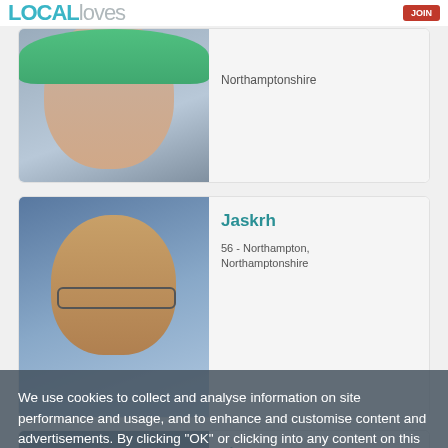LOCAL loves — JOIN
[Figure (screenshot): Profile card partially visible at top showing a woman with green hair, location: Northamptonshire]
Northamptonshire
[Figure (screenshot): Profile photo of older man with glasses outdoors against blue sky]
Jaskrh
56 - Northampton, Northamptonshire
[Figure (screenshot): Partial profile photo for piratepete]
piratepete
66 - Northampton, Northamptonshire
[Figure (screenshot): Partial profile photo for lsilyob]
lsilyob
56 - Northampton, Northamptonshire
We use cookies to collect and analyse information on site performance and usage, and to enhance and customise content and advertisements. By clicking "OK" or clicking into any content on this site you agree to allow cookies to be placed. To find out more or to change your cookie settings, visit the cookies section of our Privacy Policy.